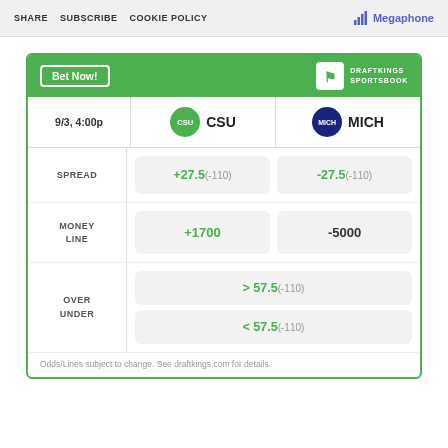SHARE  SUBSCRIBE  COOKIE POLICY  Megaphone
|  | CSU | MICH |
| --- | --- | --- |
| SPREAD | +27.5 (-110) | -27.5 (-110) |
| MONEY LINE | +1700 | -5000 |
| OVER UNDER | > 57.5 (-110) / < 57.5 (-110) |  |
Odds/Lines subject to change. See draftkings.com for details.